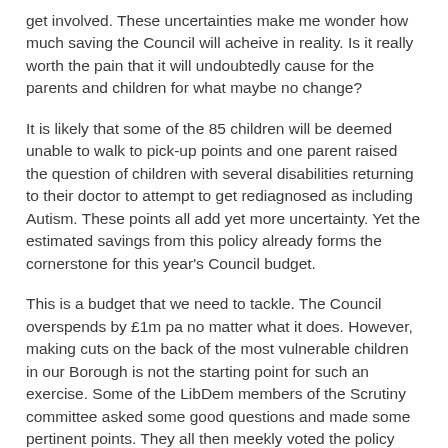get involved. These uncertainties make me wonder how much saving the Council will acheive in reality. Is it really worth the pain that it will undoubtedly cause for the parents and children for what maybe no change?
It is likely that some of the 85 children will be deemed unable to walk to pick-up points and one parent raised the question of children with several disabilities returning to their doctor to attempt to get rediagnosed as including Autism. These points all add yet more uncertainty. Yet the estimated savings from this policy already forms the cornerstone for this year's Council budget.
This is a budget that we need to tackle. The Council overspends by £1m pa no matter what it does. However, making cuts on the back of the most vulnerable children in our Borough is not the starting point for such an exercise. Some of the LibDem members of the Scrutiny committee asked some good questions and made some pertinent points. They all then meekly voted the policy through to be considered for a final decision by the Executive next Monday (1st Dec). Fortunately, a review after the first year was